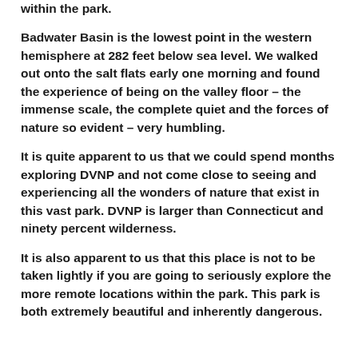within the park.
Badwater Basin is the lowest point in the western hemisphere at 282 feet below sea level. We walked out onto the salt flats early one morning and found the experience of being on the valley floor – the immense scale, the complete quiet and the forces of nature so evident – very humbling.
It is quite apparent to us that we could spend months exploring DVNP and not come close to seeing and experiencing all the wonders of nature that exist in this vast park. DVNP is larger than Connecticut and ninety percent wilderness.
It is also apparent to us that this place is not to be taken lightly if you are going to seriously explore the more remote locations within the park. This park is both extremely beautiful and inherently dangerous.